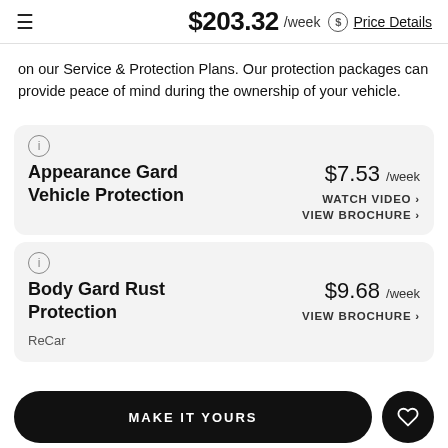$203.32 /week  Price Details
on our Service & Protection Plans. Our protection packages can provide peace of mind during the ownership of your vehicle.
Appearance Gard Vehicle Protection  $7.53 /week  WATCH VIDEO >  VIEW BROCHURE >
Body Gard Rust Protection  $9.68 /week  VIEW BROCHURE >  ReCar
MAKE IT YOURS